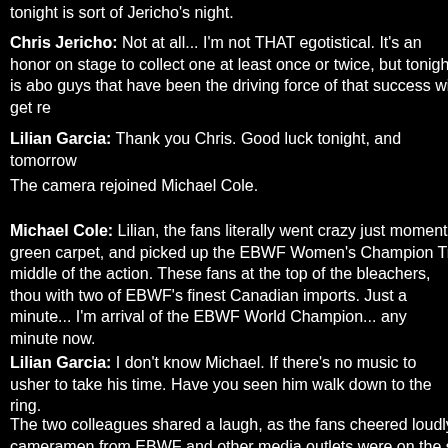tonight is sort of Jericho's night.
Chris Jericho: Not at all... I'm not THAT egotistical. It's an honor on stage to collect one at least once or twice, but tonight is about guys that have been the driving force of that success will get re
Lilian Garcia: Thank you Chris. Good luck tonight, and tomorrow
The camera rejoined Michael Cole.
Michael Cole: Lilian, the fans literally went crazy just moments green carpet, and picked up the EBWF Women's Champion Tri middle of the action. These fans at the top of the bleachers, thou with two of EBWF's finest Canadian imports. Just a minute... I'm arrival of the EBWF World Champion... any minute now.
Lilian Garcia: I don't know Michael. If there's no music to usher to take his time. Have you seen him walk down to the ring.
The two colleagues shared a laugh, as the fans cheered loudly cameramen from EBWF and other media outlets were on the si shoulder, sunglasses in place. Flash bulbs were going off as R helping her step down from the running board. Once she was fi way up the arrival area. They were immediately blinded